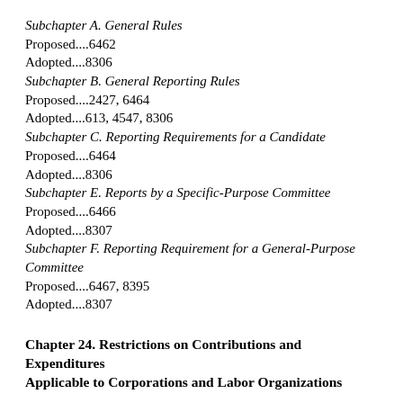Subchapter A. General Rules
Proposed....6462
Adopted....8306
Subchapter B. General Reporting Rules
Proposed....2427, 6464
Adopted....613, 4547, 8306
Subchapter C. Reporting Requirements for a Candidate
Proposed....6464
Adopted....8306
Subchapter E. Reports by a Specific-Purpose Committee
Proposed....6466
Adopted....8307
Subchapter F. Reporting Requirement for a General-Purpose Committee
Proposed....6467, 8395
Adopted....8307
Chapter 24. Restrictions on Contributions and Expenditures Applicable to Corporations and Labor Organizations
Adopted....614
Chapter 26. Political and Legislative Advertising
Proposed....8069